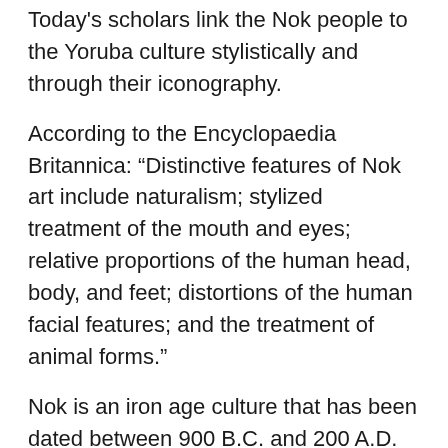Today's scholars link the Nok people to the Yoruba culture stylistically and through their iconography.
According to the Encyclopaedia Britannica: “Distinctive features of Nok art include naturalism; stylized treatment of the mouth and eyes; relative proportions of the human head, body, and feet; distortions of the human facial features; and the treatment of animal forms.”
Nok is an iron age culture that has been dated between 900 B.C. and 200 A.D. Archaeological artifacts have been found in Nigeria, primarily to the north of the Niger-Benue River confluence and below the Jos escarpment.
Reliable sources suggest that later developments of Nigerian art produced in such places as Benin City, Esie, Igbo Ukwu and Ile Ife even suggest certain features of Nok art.